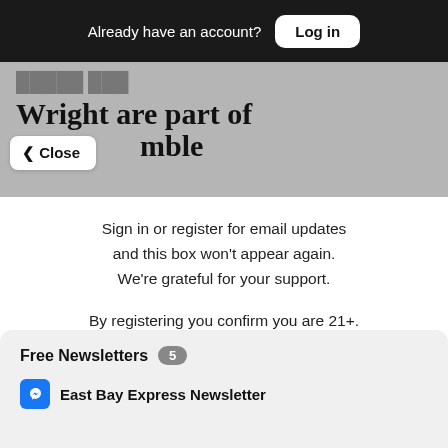Already have an account? Log in
Wright are part of mble
Close
Sign in or register for email updates and this box won't appear again. We're grateful for your support.
By registering you confirm you are 21+.
Free Newsletters 5
East Bay Express Newsletter